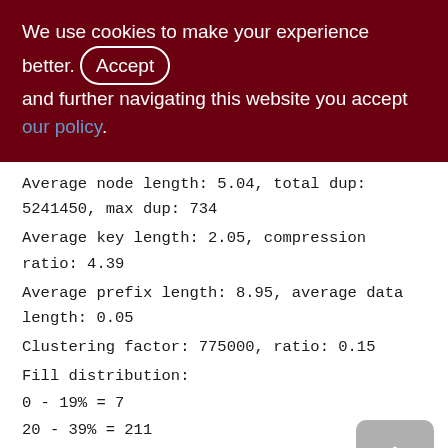We use cookies to make your experience better. By accepting and further navigating this website you accept our policy.
Average node length: 5.04, total dup: 5241450, max dup: 734
Average key length: 2.05, compression ratio: 4.39
Average prefix length: 8.95, average data length: 0.05
Clustering factor: 775000, ratio: 0.15
Fill distribution:
0 - 19% = 7
20 - 39% = 211
40 - 59% = 3126
60 - 79% = 1554